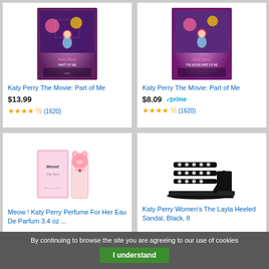[Figure (photo): Katy Perry The Movie: Part of Me movie poster/DVD cover (left card)]
Katy Perry The Movie: Part of Me
$13.99
(1620)
[Figure (photo): Katy Perry The Movie: Part of Me movie poster/DVD cover (right card)]
Katy Perry The Movie: Part of Me
$8.09 prime
(1620)
[Figure (photo): Meow! Katy Perry perfume bottle - pink cat-shaped bottle with box]
Meow ! Katy Perry Perfume For Her Eau De Parfum 3.4 oz ...
[Figure (photo): Katy Perry Women's The Layla Heeled Sandal in black with rhinestones]
Katy Perry Women's The Layla Heeled Sandal, Black, 8
By continuing to browse the site you are agreeing to our use of cookies
I understand